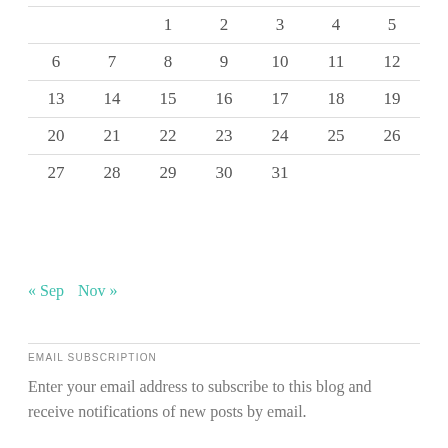|  |  | 1 | 2 | 3 | 4 | 5 |
| --- | --- | --- | --- | --- | --- | --- |
| 6 | 7 | 8 | 9 | 10 | 11 | 12 |
| 13 | 14 | 15 | 16 | 17 | 18 | 19 |
| 20 | 21 | 22 | 23 | 24 | 25 | 26 |
| 27 | 28 | 29 | 30 | 31 |  |  |
« Sep   Nov »
EMAIL SUBSCRIPTION
Enter your email address to subscribe to this blog and receive notifications of new posts by email.